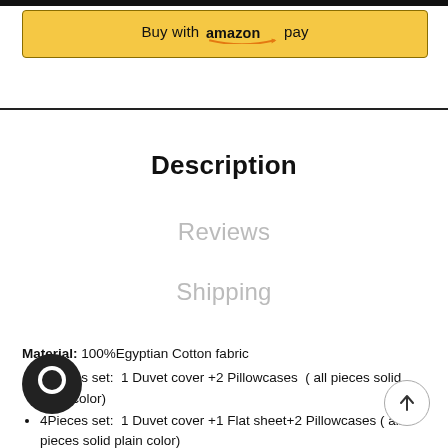[Figure (other): Amazon Pay button with yellow background and Amazon logo with smile arrow]
Description
Reviews
Shipping
Material: 100%Egyptian Cotton fabric
3Pieces set: 1 Duvet cover +2 Pillowcases ( all pieces solid plain color)
4Pieces set: 1 Duvet cover +1 Flat sheet+2 Pillowcases ( all pieces solid plain color)